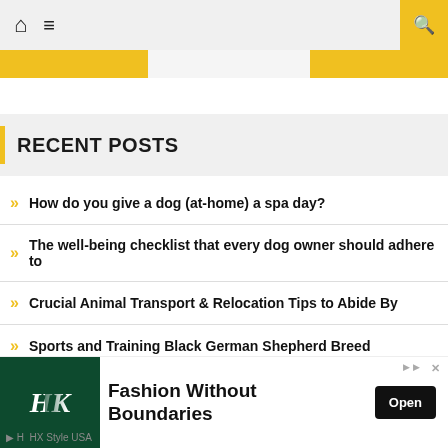Navigation bar with home icon, menu icon, and search button
RECENT POSTS
How do you give a dog (at-home) a spa day?
The well-being checklist that every dog owner should adhere to
Crucial Animal Transport & Relocation Tips to Abide By
Sports and Training Black German Shepherd Breed
should you opt-in for the top salmon dog food brands for
[Figure (screenshot): Advertisement banner: HK Style USA - Fashion Without Boundaries with Open button]